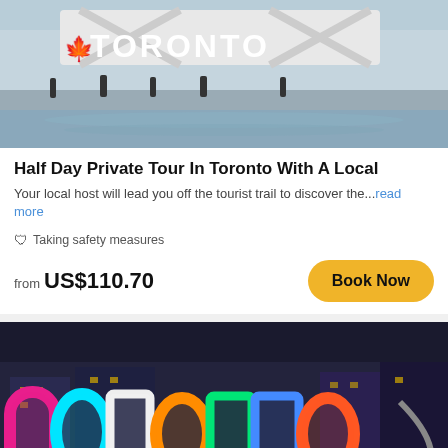[Figure (photo): Daytime photo of Toronto sign at waterfront]
Half Day Private Tour In Toronto With A Local
Your local host will lead you off the tourist trail to discover the...read more
🛡 Taking safety measures
from US$110.70
[Figure (photo): Nighttime photo of illuminated colorful TORONTO sign at Nathan Phillips Square]